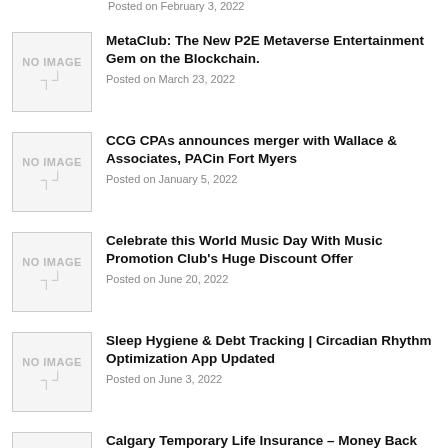Posted on February 3, 2022
[Figure (illustration): NO IMAGE placeholder box]
MetaClub: The New P2E Metaverse Entertainment Gem on the Blockchain.
Posted on March 23, 2022
[Figure (illustration): NO IMAGE placeholder box]
CCG CPAs announces merger with Wallace & Associates, PACin Fort Myers
Posted on January 5, 2022
[Figure (illustration): NO IMAGE placeholder box]
Celebrate this World Music Day With Music Promotion Club's Huge Discount Offer
Posted on June 20, 2022
[Figure (illustration): NO IMAGE placeholder box]
Sleep Hygiene & Debt Tracking | Circadian Rhythm Optimization App Updated
Posted on June 3, 2022
[Figure (illustration): NO IMAGE placeholder box]
Calgary Temporary Life Insurance – Money Back Investment Advisors Guide Updated
Posted on October 10, 2021